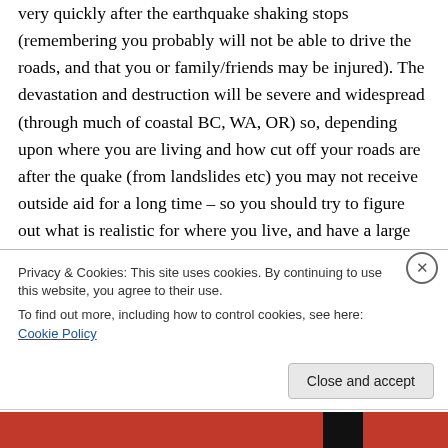very quickly after the earthquake shaking stops (remembering you probably will not be able to drive the roads, and that you or family/friends may be injured). The devastation and destruction will be severe and widespread (through much of coastal BC, WA, OR) so, depending upon where you are living and how cut off your roads are after the quake (from landslides etc) you may not receive outside aid for a long time – so you should try to figure out what is realistic for where you live, and have a large supply of food, and
Privacy & Cookies: This site uses cookies. By continuing to use this website, you agree to their use.
To find out more, including how to control cookies, see here: Cookie Policy